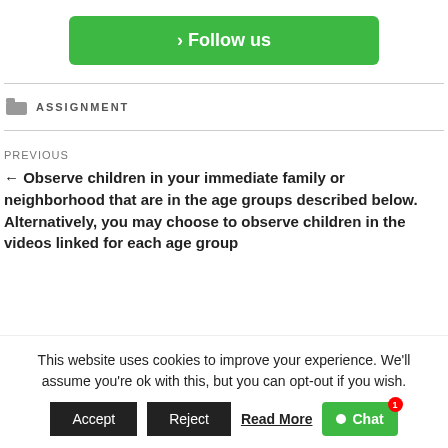[Figure (other): Green 'Follow us' button with arrow indicator]
ASSIGNMENT
PREVIOUS
← Observe children in your immediate family or neighborhood that are in the age groups described below. Alternatively, you may choose to observe children in the videos linked for each age group
This website uses cookies to improve your experience. We'll assume you're ok with this, but you can opt-out if you wish.
Accept  Reject  Read More  Chat